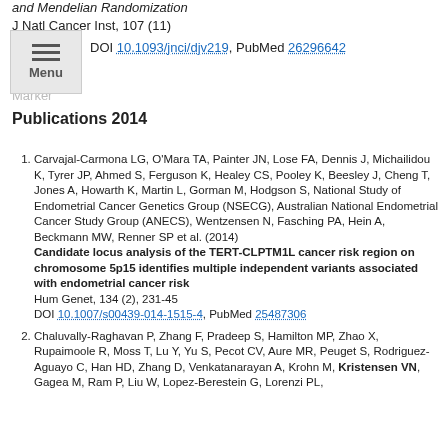and Mendelian Randomization
J Natl Cancer Inst, 107 (11)
DOI 10.1093/jnci/djv219, PubMed 26296642
Publications 2014
Carvajal-Carmona LG, O'Mara TA, Painter JN, Lose FA, Dennis J, Michailidou K, Tyrer JP, Ahmed S, Ferguson K, Healey CS, Pooley K, Beesley J, Cheng T, Jones A, Howarth K, Martin L, Gorman M, Hodgson S, National Study of Endometrial Cancer Genetics Group (NSECG), Australian National Endometrial Cancer Study Group (ANECS), Wentzensen N, Fasching PA, Hein A, Beckmann MW, Renner SP et al. (2014)
Candidate locus analysis of the TERT-CLPTM1L cancer risk region on chromosome 5p15 identifies multiple independent variants associated with endometrial cancer risk
Hum Genet, 134 (2), 231-45
DOI 10.1007/s00439-014-1515-4, PubMed 25487306
Chaluvally-Raghavan P, Zhang F, Pradeep S, Hamilton MP, Zhao X, Rupaimoole R, Moss T, Lu Y, Yu S, Pecot CV, Aure MR, Peuget S, Rodriguez-Aguayo C, Han HD, Zhang D, Venkatanarayan A, Krohn M, Kristensen VN, Gagea M, Ram P, Liu W, Lopez-Berestein G, Lorenzi PL, ...